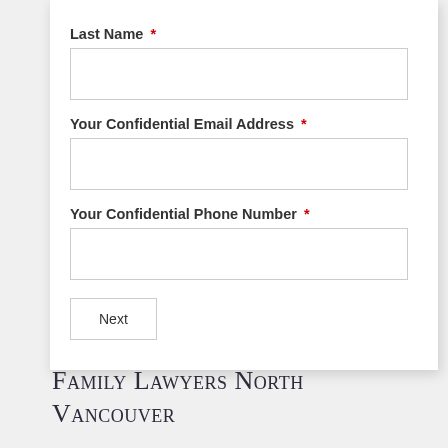Last Name *
Your Confidential Email Address *
Your Confidential Phone Number *
Next
Family Lawyers North Vancouver